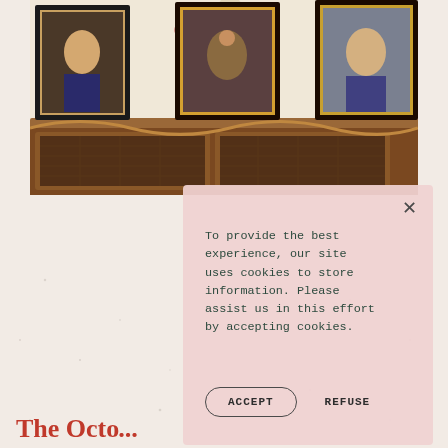[Figure (photo): Interior photograph of an antique wooden sideboard/cabinet with decorative floral wallpaper behind it and framed portrait paintings hanging on the wall above.]
To provide the best experience, our site uses cookies to store information. Please assist us in this effort by accepting cookies.
ACCEPT   REFUSE
The Octo...